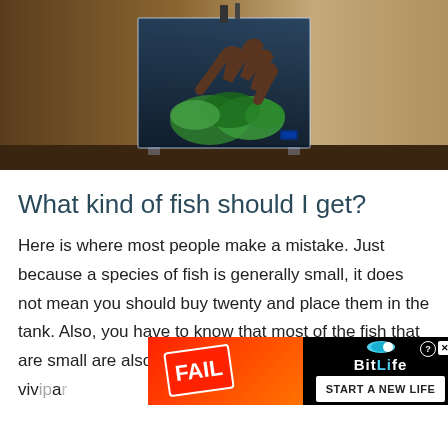[Figure (photo): A small glass cube aquarium filled with aquatic plants and driftwood, sitting on a wooden surface against a brown/beige background]
What kind of fish should I get?
Here is where most people make a mistake. Just because a species of fish is generally small, it does not mean you should buy twenty and place them in the tank. Also, you have to know that most of the fish that are small are also viviparous by nature, which means they give birth to live young...
[Figure (photo): BitLife advertisement banner with FAIL text, cartoon character, and flames on orange background. Black section on right with BitLife logo and START A NEW LIFE button.]